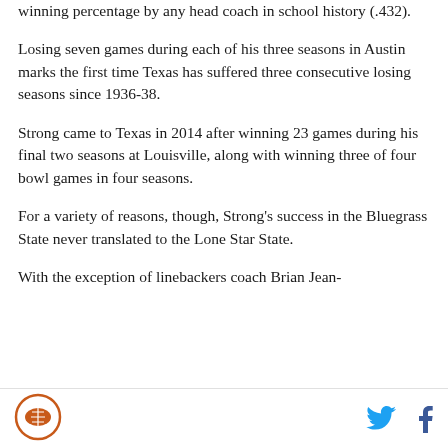winning percentage by any head coach in school history (.432).
Losing seven games during each of his three seasons in Austin marks the first time Texas has suffered three consecutive losing seasons since 1936-38.
Strong came to Texas in 2014 after winning 23 games during his final two seasons at Louisville, along with winning three of four bowl games in four seasons.
For a variety of reasons, though, Strong's success in the Bluegrass State never translated to the Lone Star State.
With the exception of linebackers coach Brian Jean-
[Figure (logo): Circular logo with an orange football and star emblem]
Social media icons: Twitter and Facebook